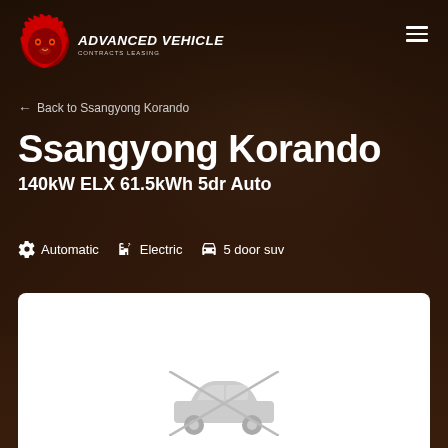[Figure (logo): Advanced Vehicle Contracts Leasing logo — red lion head on left, white bold italic text ADVANCED VEHICLE with smaller text CONTRACTS LEASING below]
← Back to Ssangyong Korando
Ssangyong Korando
140kW ELX 61.5kWh 5dr Auto
Automatic   Electric   5 door suv
[Figure (illustration): White card panel at bottom with a greyed-out car silhouette placeholder image]